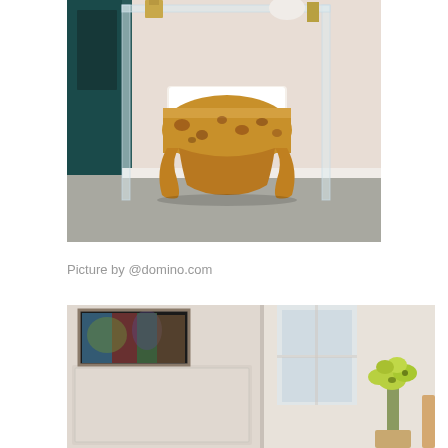[Figure (photo): Interior design photo showing a wooden burl stool with white cushion on top, placed in front of a clear acrylic/lucite console table. Background shows a dark teal door on the left and beige walls. Gray carpet flooring.]
Picture by @domino.com
[Figure (photo): Interior design photo showing a room with white paneled walls, a colorful abstract artwork on the left, a window with natural light in the center, and a yellow-green orchid plant on the right side. The room appears to have a fireplace surround area.]